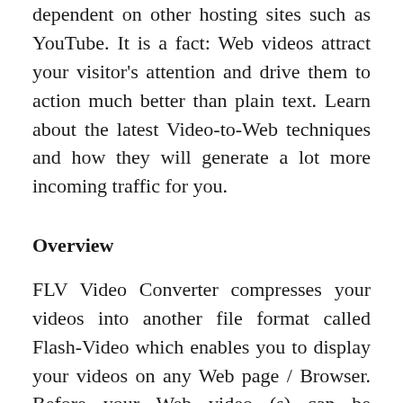dependent on other hosting sites such as YouTube. It is a fact: Web videos attract your visitor's attention and drive them to action much better than plain text. Learn about the latest Video-to-Web techniques and how they will generate a lot more incoming traffic for you.
Overview
FLV Video Converter compresses your videos into another file format called Flash-Video which enables you to display your videos on any Web page / Browser. Before your Web video (s) can be displayed on your Web page, you need to add a small HTML code onto your page (s) and post the files to your Webhosting server.